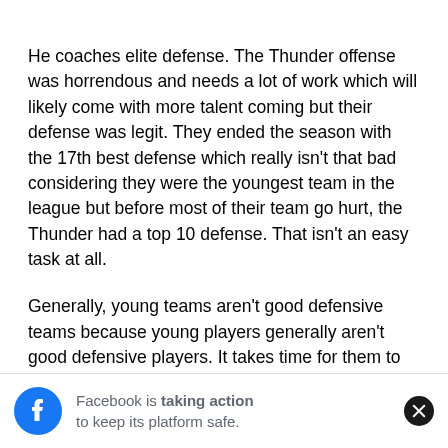He coaches elite defense. The Thunder offense was horrendous and needs a lot of work which will likely come with more talent coming but their defense was legit. They ended the season with the 17th best defense which really isn't that bad considering they were the youngest team in the league but before most of their team go hurt, the Thunder had a top 10 defense. That isn't an easy task at all.
Generally, young teams aren't good defensive teams because young players generally aren't good defensive players. It takes time for them to get used to the speed and physicality of the NBA. Somehow, the Thunder somehow defied all the odds. Again, it's because of Mark Daign... to a defens... d
[Figure (screenshot): Facebook notification banner at bottom: 'Facebook is taking action to keep its platform safe.' with Facebook logo icon on left and close (X) button on right.]